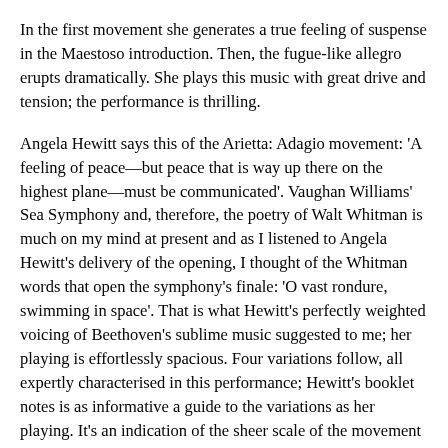In the first movement she generates a true feeling of suspense in the Maestoso introduction. Then, the fugue-like allegro erupts dramatically. She plays this music with great drive and tension; the performance is thrilling.
Angela Hewitt says this of the Arietta: Adagio movement: 'A feeling of peace—but peace that is way up there on the highest plane—must be communicated'. Vaughan Williams' Sea Symphony and, therefore, the poetry of Walt Whitman is much on my mind at present and as I listened to Angela Hewitt's delivery of the opening, I thought of the Whitman words that open the symphony's finale: 'O vast rondure, swimming in space'. That is what Hewitt's perfectly weighted voicing of Beethoven's sublime music suggested to me; her playing is effortlessly spacious. Four variations follow, all expertly characterised in this performance; Hewitt's booklet notes is as informative a guide to the variations as her playing. It's an indication of the sheer scale of the movement that by the time Beethoven has finished the variations (around 11:00) he is only just about halfway through what he has to say. In the music that follows he is at his most exploratory, pushing the boundaries. He lived for some six years after completing this sonata and I don't know if he ever contemplated another piano sonata but as it stands, this huge slow movement is a wonderful valediction to the piano sonata form. The whole thing is superbly controlled by Angela Hewitt. She accomplishes the concluding part